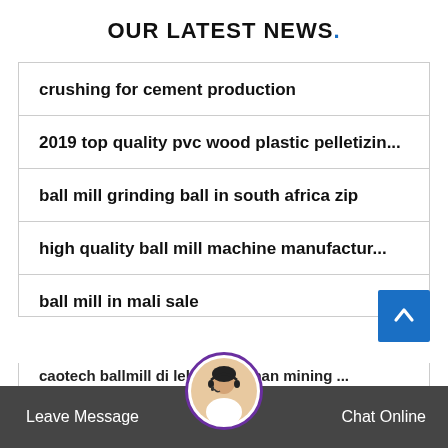OUR LATEST NEWS.
crushing for cement production
2019 top quality pvc wood plastic pelletizin...
ball mill grinding ball in south africa zip
high quality ball mill machine manufactur...
ball mill in mali sale
caotech ballmill di lebanon henan mining ...
Leave Message
Chat Online